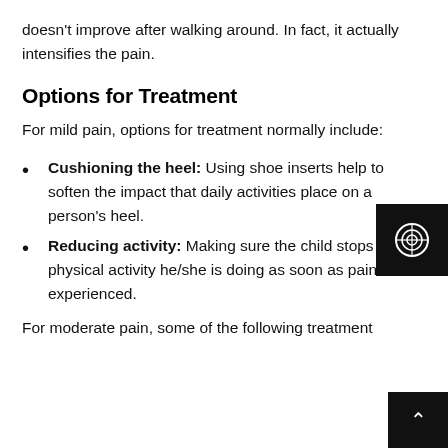doesn't improve after walking around. In fact, it actually intensifies the pain.
Options for Treatment
For mild pain, options for treatment normally include:
Cushioning the heel: Using shoe inserts help to soften the impact that daily activities place on a person's heel.
Reducing activity: Making sure the child stops the physical activity he/she is doing as soon as pain is experienced.
For moderate pain, some of the following treatment